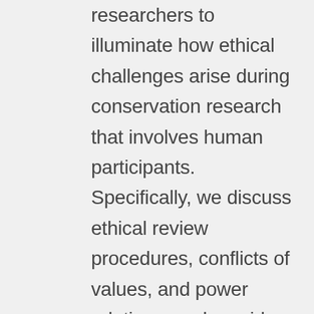researchers to illuminate how ethical challenges arise during conservation research that involves human participants. Specifically, we discuss ethical review procedures, conflicts of values, and power relations, and provide broad recommendations on how to navigate ethical challenges when they arise during research. We encourage greater engagement with ethical review processes and highlight the pressing need to advance this violation of...